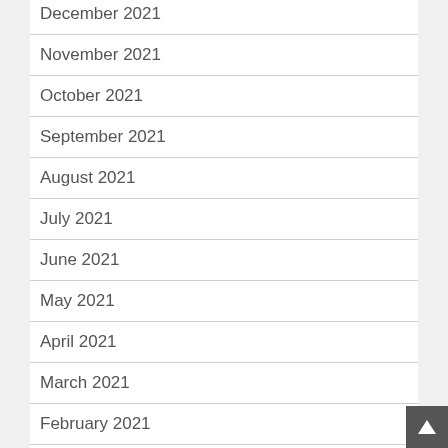December 2021
November 2021
October 2021
September 2021
August 2021
July 2021
June 2021
May 2021
April 2021
March 2021
February 2021
October 2020
September 2020